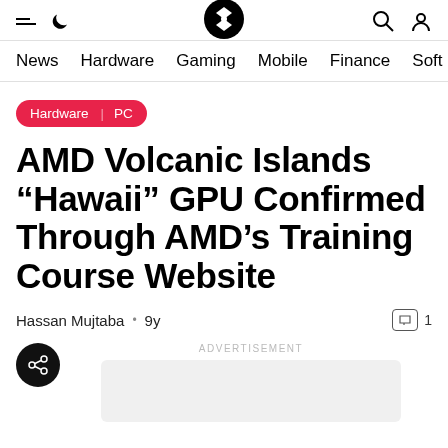Navigation header with hamburger menu, moon icon, logo, search icon, user icon
News | Hardware | Gaming | Mobile | Finance | Soft
Hardware | PC
AMD Volcanic Islands “Hawaii” GPU Confirmed Through AMD’s Training Course Website
Hassan Mujtaba • 9y
ADVERTISEMENT